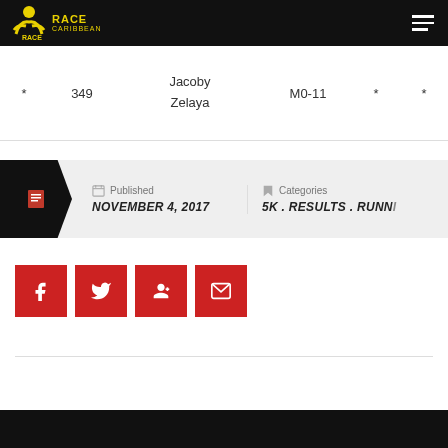Race Caribbean
| * | 349 | Jacoby Zelaya | M0-11 | * | * |
| --- | --- | --- | --- | --- | --- |
| * | 349 | Jacoby
Zelaya | M0-11 | * | * |
Published: NOVEMBER 4, 2017 | Categories: 5K . RESULTS . RUNNING
[Figure (infographic): Social share buttons: Facebook, Twitter, Google+, Email]